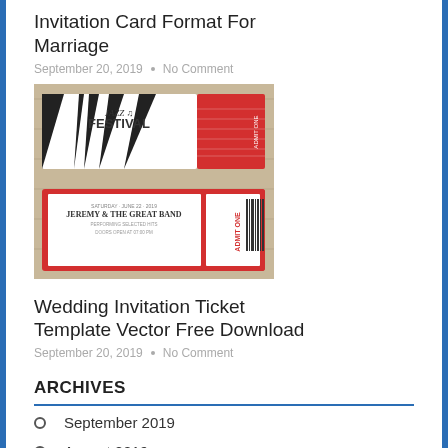Invitation Card Format For Marriage
September 20, 2019 · No Comment
[Figure (illustration): Two concert/event ticket templates: top one is a Jazz Festival ticket with black and white piano key rays and a red stub; bottom one is a wedding invitation ticket styled card for 'Jeremy & The Great Band' with a red stub reading 'ADMIT ONE' and a barcode.]
Wedding Invitation Ticket Template Vector Free Download
September 20, 2019 · No Comment
ARCHIVES
September 2019
August 2019
July 2019